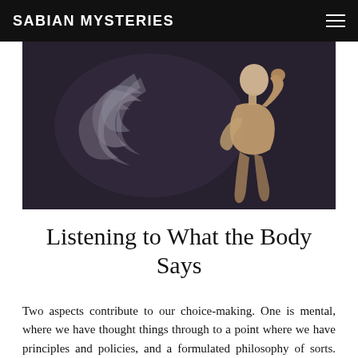SABIAN MYSTERIES
[Figure (illustration): Dark purple/charcoal painting showing a pale human figure standing in profile facing right with fist raised, and a spiral/feather-like abstract form in lighter tones to the left, on a dark background.]
Listening to What the Body Says
Two aspects contribute to our choice-making. One is mental, where we have thought things through to a point where we have principles and policies, and a formulated philosophy of sorts. The other is rooted in the physical body. We have a vast and meaningful compendium of